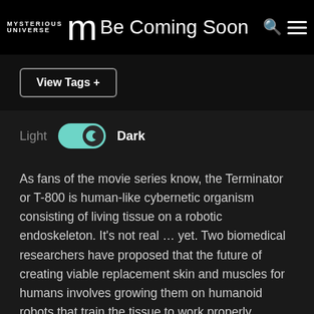Mysterious Universe | The Terminator May Be Coming Soon
View Tags +
Light  Dark
As fans of the movie series know, the Terminator or T-800 is human-like cybernetic organism consisting of living tissue on a robotic endoskeleton. It's not real … yet. Two biomedical researchers have proposed that the future of creating viable replacement skin and muscles for humans involves growing them on humanoid robots that train the tissue to work properly